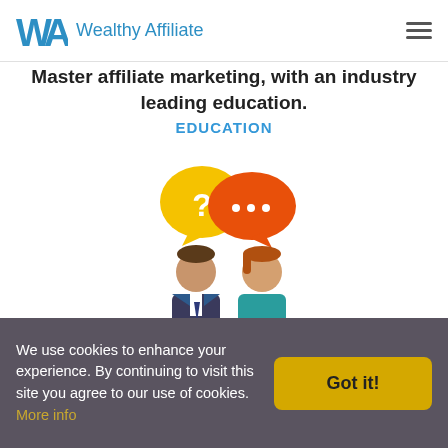Wealthy Affiliate
Master affiliate marketing, with an industry leading education.
EDUCATION
[Figure (illustration): Two cartoon figures (a man in a suit and a woman in teal) with speech bubbles — a yellow bubble with a question mark and an orange bubble with ellipsis dots — representing expert coaching and support.]
Get expert coaching when you need help or advice.
SUPPORT
We use cookies to enhance your experience. By continuing to visit this site you agree to our use of cookies. More info